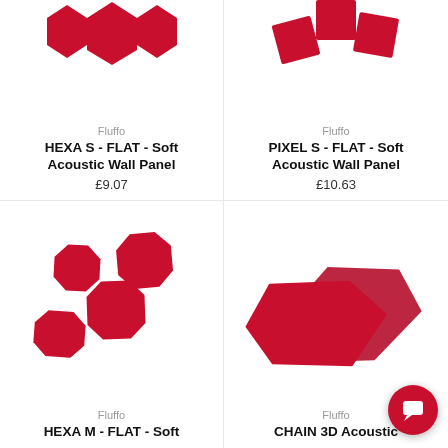[Figure (photo): Red hexagonal acoustic wall panel tiles (HEXA S FLAT) product photo, partially cut off at top, red pieces on white background]
Fluffo
HEXA S - FLAT - Soft Acoustic Wall Panel
£9.07
[Figure (photo): Red pixel-shaped acoustic wall panel tiles (PIXEL S FLAT) product photo, partially cut off at top, red pieces on white background]
Fluffo
PIXEL S - FLAT - Soft Acoustic Wall Panel
£10.63
[Figure (photo): Red hexagonal medium acoustic wall panel tiles (HEXA M FLAT) product photo showing four octagonal red foam tiles arranged on white background]
Fluffo
HEXA M - FLAT - Soft
[Figure (photo): Red chain/pentagon shaped 3D acoustic panel tiles (CHAIN 3D) product photo showing two overlapping red foam pentagon shapes on white background]
Fluffo
CHAIN 3D Acoustic